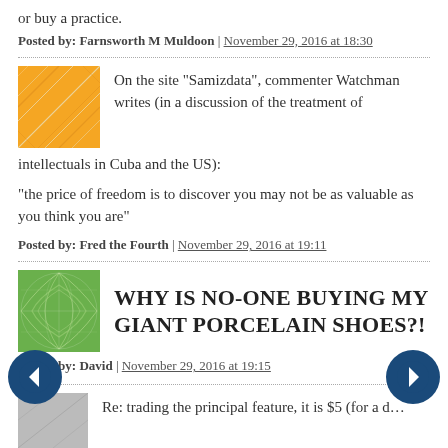or buy a practice.
Posted by: Farnsworth M Muldoon | November 29, 2016 at 18:30
On the site "Samizdata", commenter Watchman writes (in a discussion of the treatment of intellectuals in Cuba and the US):
"the price of freedom is to discover you may not be as valuable as you think you are"
Posted by: Fred the Fourth | November 29, 2016 at 19:11
WHY IS NO-ONE BUYING MY GIANT PORCELAIN SHOES?!
Posted by: David | November 29, 2016 at 19:15